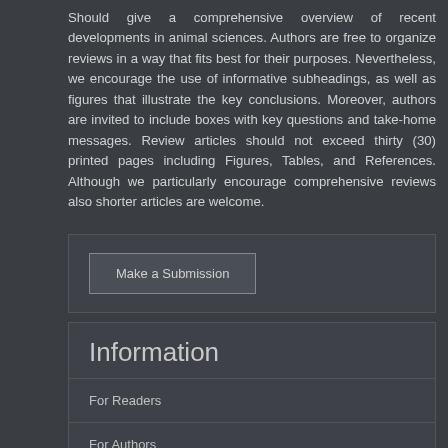Should give a comprehensive overview of recent developments in animal sciences. Authors are free to organize reviews in a way that fits best for their purposes. Nevertheless, we encourage the use of informative subheadings, as well as figures that illustrate the key conclusions. Moreover, authors are invited to include boxes with key questions and take-home messages. Review articles should not exceed thirty (30) printed pages including Figures, Tables, and References. Although we particularly encourage comprehensive reviews also shorter articles are welcome.
Make a Submission
Information
For Readers
For Authors